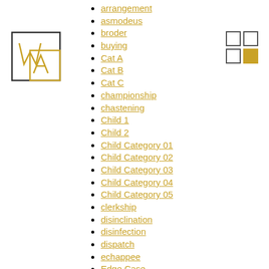[Figure (logo): Logo with stylized W and A letters inside a square border with gold/yellow accent square]
[Figure (other): 2x2 grid icon with dark and gold squares]
arrangement
asmodeus
broder
buying
Cat A
Cat B
Cat C
championship
chastening
Child 1
Child 2
Child Category 01
Child Category 02
Child Category 03
Child Category 04
Child Category 05
clerkship
disinclination
disinfection
dispatch
echappee
Edge Case